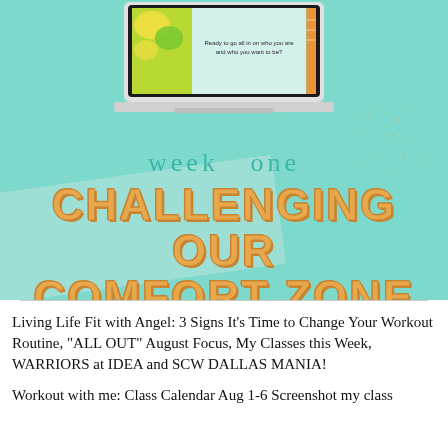[Figure (screenshot): Laptop mockup showing a teal/mint colored screen with text 'Ready to go all in on who you are and who you want to be?' displayed on screen, with yellow/green fruit image on the left side of the screen]
week one
CHALLENGING OUR COMFORT ZONE
Living Life Fit with Angel: 3 Signs It's Time to Change Your Workout Routine, "ALL OUT" August Focus, My Classes this Week, WARRIORS at IDEA and SCW DALLAS MANIA!
Workout with me: Class Calendar Aug 1-6 Screenshot my class calendar foratherises and i can use which you are clicking to